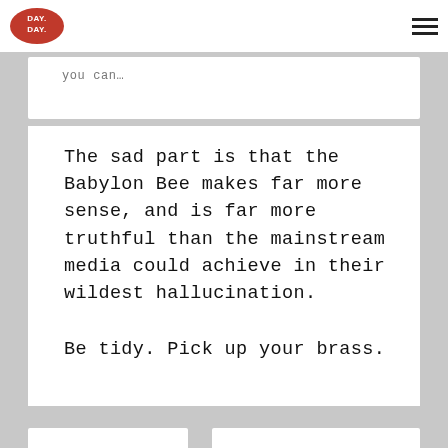Day Day (logo) | hamburger menu
you can...
The sad part is that the Babylon Bee makes far more sense, and is far more truthful than the mainstream media could achieve in their wildest hallucination.
September 11, 2020 at 12:01 am
NotYetInACamp
Be tidy. Pick up your brass.